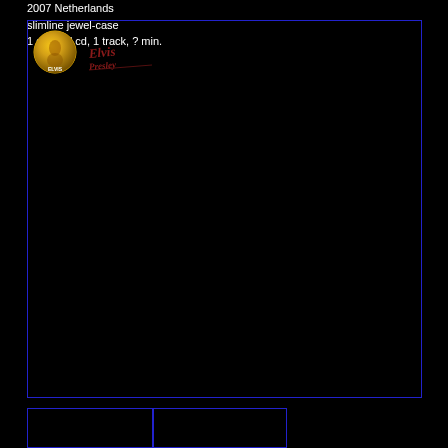2007 Netherlands
slimline jewel-case
1 shaped cd, 1 track, ? min.
[Figure (logo): Elvis circular badge/logo in gold/yellow tones with figure image]
[Figure (logo): Elvis Presley signature logo in cursive script with red/brown text]